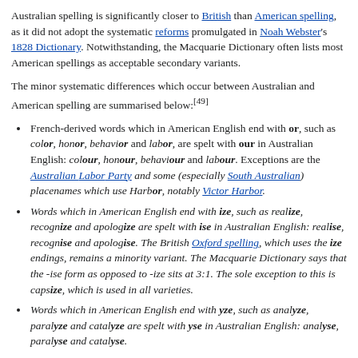Australian spelling is significantly closer to British than American spelling, as it did not adopt the systematic reforms promulgated in Noah Webster's 1828 Dictionary. Notwithstanding, the Macquarie Dictionary often lists most American spellings as acceptable secondary variants.
The minor systematic differences which occur between Australian and American spelling are summarised below:[49]
French-derived words which in American English end with or, such as color, honor, behavior and labor, are spelt with our in Australian English: colour, honour, behaviour and labour. Exceptions are the Australian Labor Party and some (especially South Australian) placenames which use Harbor, notably Victor Harbor.
Words which in American English end with ize, such as realize, recognize and apologize are spelt with ise in Australian English: realise, recognise and apologise. The British Oxford spelling, which uses the ize endings, remains a minority variant. The Macquarie Dictionary says that the -ise form as opposed to -ize sits at 3:1. The sole exception to this is capsize, which is used in all varieties.
Words which in American English end with yze, such as analyze, paralyze and catalyze are spelt with yse in Australian English: analyse, paralyse and catalyse.